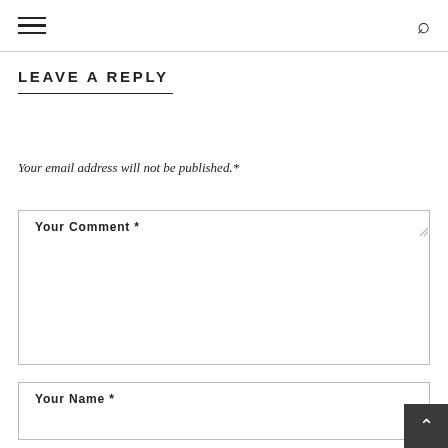Navigation menu and search icon
LEAVE A REPLY
Your email address will not be published.*
Your Comment *
Your Name *